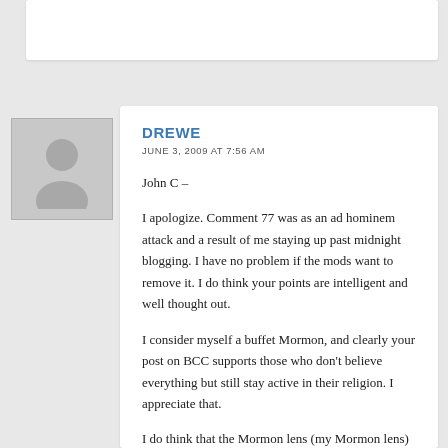[Figure (photo): Generic user avatar placeholder — grey silhouette of a person on a light grey background]
DREWE
JUNE 3, 2009 AT 7:56 AM
John C –
I apologize. Comment 77 was as an ad hominem attack and a result of me staying up past midnight blogging. I have no problem if the mods want to remove it. I do think your points are intelligent and well thought out.
I consider myself a buffet Mormon, and clearly your post on BCC supports those who don't believe everything but still stay active in their religion. I appreciate that.
I do think that the Mormon lens (my Mormon lens)